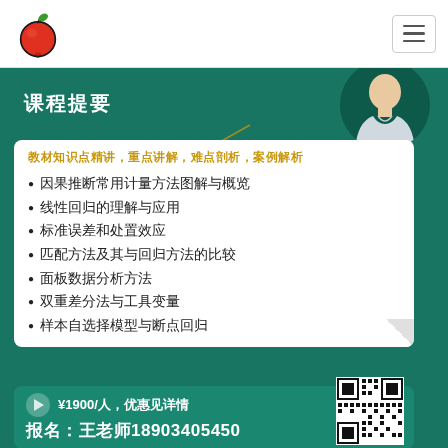Apple logo and navigation hamburger menu
[Figure (illustration): Teacher photo in circular frame on teal background with course title 课程提要]
课程提要
教材知识点精讲，重点讲解，难点剖析，案例解析
因果推断常用计量方法图解与概览
线性回归的理解与应用
标准误差和处置效应
匹配方法及其与回归方法的比较
面板数据分析方法
双重差分法与工具变量
样本自选择模型与断点回归
¥1900/人，优惠见详情
报名：王老师18903405450